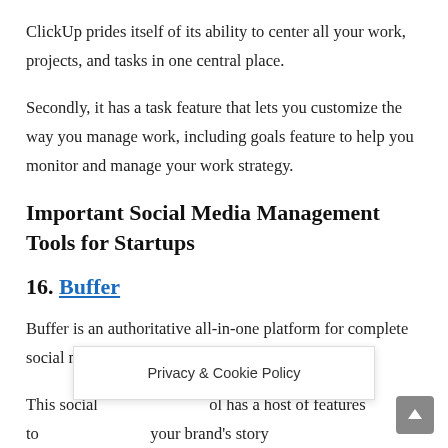ClickUp prides itself of its ability to center all your work, projects, and tasks in one central place.
Secondly, it has a task feature that lets you customize the way you manage work, including goals feature to help you monitor and manage your work strategy.
Important Social Media Management Tools for Startups
16. Buffer
Buffer is an authoritative all-in-one platform for complete social media marketing management.
This social media tool has a host of features to your brand's story